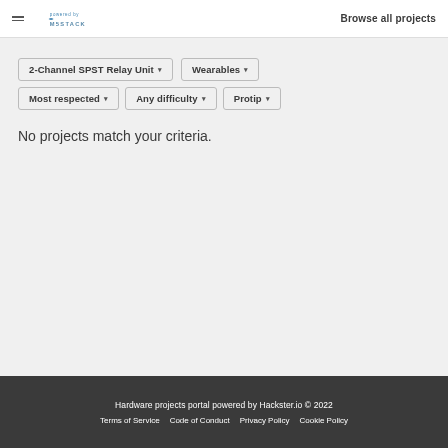Browse all projects
2-Channel SPST Relay Unit ▾
Wearables ▾
Most respected ▾
Any difficulty ▾
Protip ▾
No projects match your criteria.
Hardware projects portal powered by Hackster.io © 2022 Terms of Service Code of Conduct Privacy Policy Cookie Policy